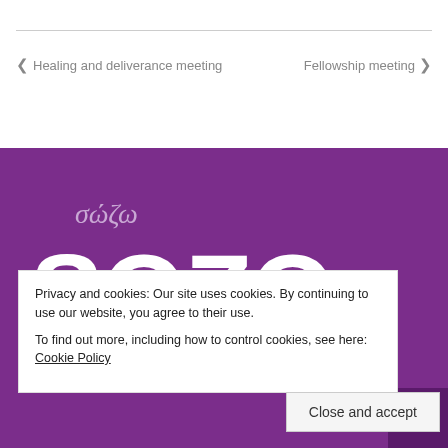< Healing and deliverance meeting    Fellowship meeting >
[Figure (illustration): Purple background banner with Greek text 'σώζω' and large bold white text 'SOZO']
Privacy and cookies: Our site uses cookies. By continuing to use our website, you agree to their use. To find out more, including how to control cookies, see here: Cookie Policy
Close and accept